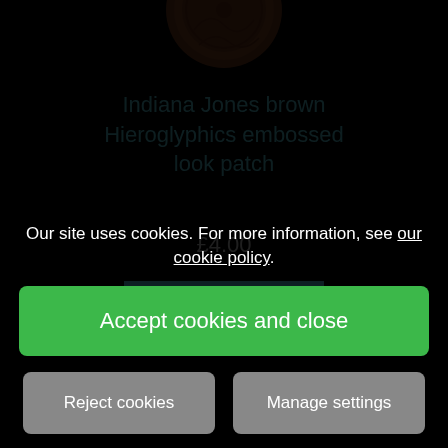[Figure (photo): Partial view of a brown Indiana Jones hieroglyphics embossed patch (circular coin-like object) visible at the top of the page]
Indiana Jones brown Hieroglyphics embossed look patch
£4.00
VIEW DETAILS
Our site uses cookies. For more information, see our cookie policy.
Accept cookies and close
Reject cookies
Manage settings